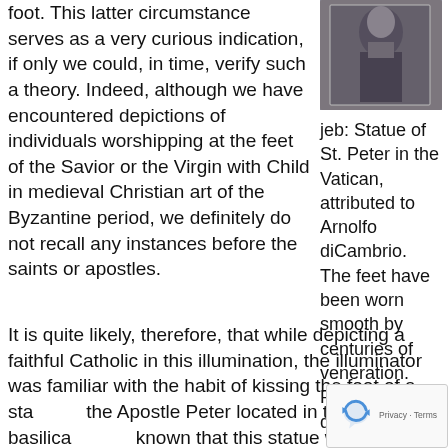foot. This latter circumstance serves as a very curious indication, if only we could, in time, verify such a theory. Indeed, although we have encountered depictions of individuals worshipping at the feet of the Savior or the Virgin with Child in medieval Christian art of the Byzantine period, we definitely do not recall any instances before the saints or apostles.
[Figure (photo): Statue of St. Peter in the Vatican, attributed to Arnolfo diCambrio, with feet worn smooth by veneration]
jeb: Statue of St. Peter in the Vatican, attributed to Arnolfo diCambrio. The feet have been worn smooth by centuries of veneration. Photo in public domain.
It is quite likely, therefore, that while depicting a faithful Catholic in this illumination, the illuminator was familiar with the habit of kissing the foot of a sta... the Apostle Peter located in the Vatican basilica... known that this statue was considered to have been a